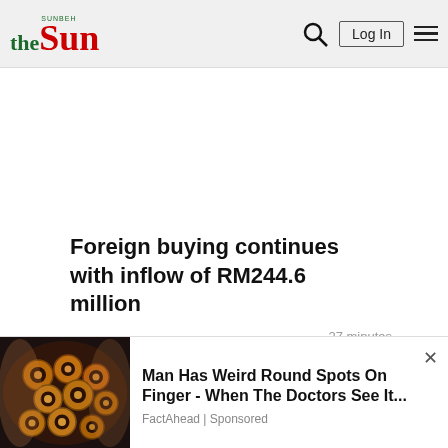theSun — Log In
Foreign buying continues with inflow of RM244.6 million
27 minutes
TODAY NEWS
1. Litar uji kenderaan di Sepang tawar ujian sistem keselamatan
[Figure (photo): Close-up photo of circular spotted patterns on a finger, used in sponsored ad banner]
Man Has Weird Round Spots On Finger - When The Doctors See It...
FactAhead | Sponsored